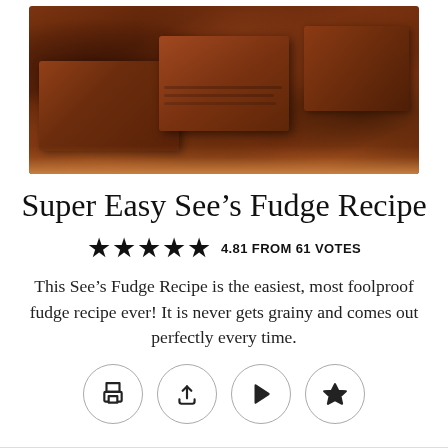[Figure (photo): Chocolate fudge pieces stacked on a wooden board, close-up shot showing rich brown color and smooth texture]
Super Easy See’s Fudge Recipe
★★★★★ 4.81 FROM 61 VOTES
This See’s Fudge Recipe is the easiest, most foolproof fudge recipe ever! It is never gets grainy and comes out perfectly every time.
[Figure (infographic): Four circular icon buttons: print, upload/share, play, and bookmark/save]